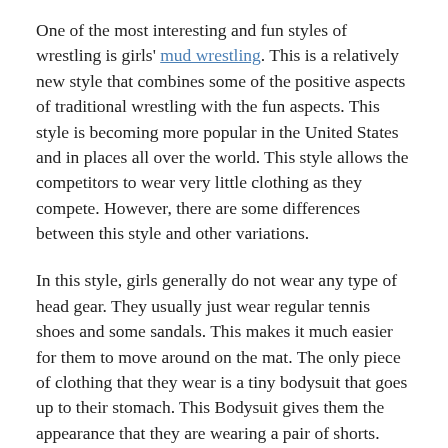One of the most interesting and fun styles of wrestling is girls' mud wrestling. This is a relatively new style that combines some of the positive aspects of traditional wrestling with the fun aspects. This style is becoming more popular in the United States and in places all over the world. This style allows the competitors to wear very little clothing as they compete. However, there are some differences between this style and other variations.
In this style, girls generally do not wear any type of head gear. They usually just wear regular tennis shoes and some sandals. This makes it much easier for them to move around on the mat. The only piece of clothing that they wear is a tiny bodysuit that goes up to their stomach. This Bodysuit gives them the appearance that they are wearing a pair of shorts.
The reason for this outfit is to hide any bumps and bruises that may occur from the floor. The girls just need to submit to the other girl when they are on top of the mat and that is all there is